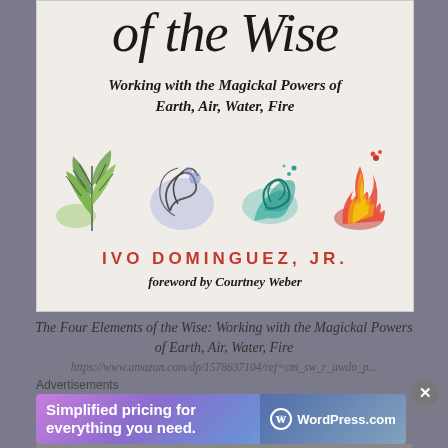[Figure (illustration): Book cover of 'The Four Elements of the Wise: Working with the Magickal Powers of Earth, Air, Water, Fire' by Ivo Dominguez, Jr., foreword by Courtney Weber. Shows title in large italic font, subtitle in bold italic, four elemental illustrations (earth/plant, air/wind swirls, water/waves, fire/flames), author name in red spaced caps, and foreword credit.]
The Four Elements of the Wise: Working with the Magickal Powers of Earth, Air, Water, Fire
https://www.amazon.com/dp/1578637104/ref=cm_sw_r_awdo_p...
Advertisements
[Figure (screenshot): WordPress.com advertisement banner: 'Simplified pricing for everything you need.' with WordPress.com logo on right, gradient purple-blue background.]